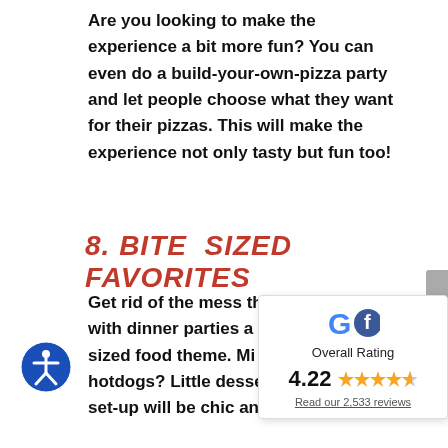Are you looking to make the experience a bit more fun? You can even do a build-your-own-pizza party and let people choose what they want for their pizzas. This will make the experience not only tasty but fun too!
8. BITE SIZED FAVORITES
Get rid of the mess th... with dinner parties a... sized food theme. Mi... hotdogs? Little desse... set-up will be chic and classy by...
[Figure (infographic): Google and Facebook logo combined (Gf), Overall Rating widget showing 4.22 stars out of 5 with 2,533 reviews link]